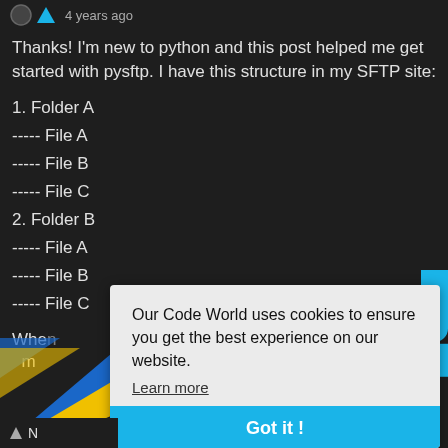4 years ago
Thanks! I'm new to python and this post helped me get started with pysftp. I have this structure in my SFTP site:
1. Folder A
----- File A
----- File B
----- File C
2. Folder B
----- File A
----- File B
----- File C
Whe[n...] [m]
Our Code World uses cookies to ensure you get the best experience on our website. Learn more Got it !